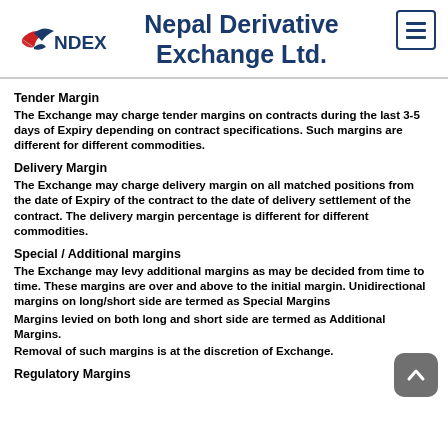[Figure (logo): NDEX logo with red bird/arrow graphic and stylized text]
Nepal Derivative Exchange Ltd.
Tender Margin
The Exchange may charge tender margins on contracts during the last 3-5 days of Expiry depending on contract specifications. Such margins are different for different commodities.
Delivery Margin
The Exchange may charge delivery margin on all matched positions from the date of Expiry of the contract to the date of delivery settlement of the contract. The delivery margin percentage is different for different commodities.
Special / Additional margins
The Exchange may levy additional margins as may be decided from time to time. These margins are over and above to the initial margin. Unidirectional margins on long/short side are termed as Special Margins
Margins levied on both long and short side are termed as Additional Margins.
Removal of such margins is at the discretion of Exchange.
Regulatory Margins